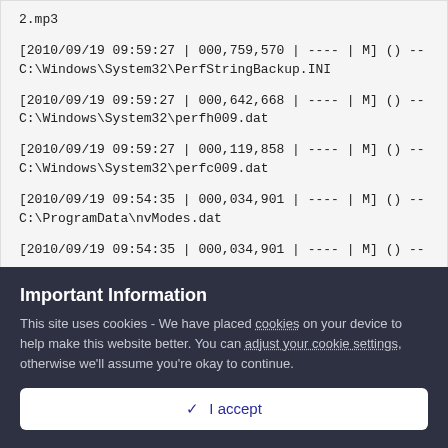2.mp3
[2010/09/19 09:59:27 | 000,759,570 | ---- | M] () -- C:\Windows\System32\PerfStringBackup.INI
[2010/09/19 09:59:27 | 000,642,668 | ---- | M] () -- C:\Windows\System32\perfh009.dat
[2010/09/19 09:59:27 | 000,119,858 | ---- | M] () -- C:\Windows\System32\perfc009.dat
[2010/09/19 09:54:35 | 000,034,901 | ---- | M] () -- C:\ProgramData\nvModes.dat
[2010/09/19 09:54:35 | 000,034,901 | ---- | M] () --
Important Information
This site uses cookies - We have placed cookies on your device to help make this website better. You can adjust your cookie settings, otherwise we'll assume you're okay to continue.
✓  I accept